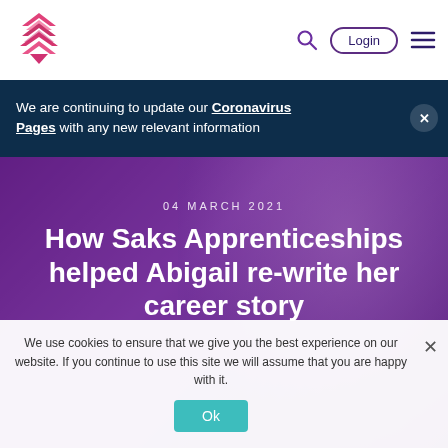[Figure (logo): Saks apprenticeships logo — pink/magenta layered chevron/heart shape]
Login | Menu navigation
We are continuing to update our Coronavirus Pages with any new relevant information
[Figure (photo): Purple-tinted background photo of a person, used as hero image]
04 MARCH 2021
How Saks Apprenticeships helped Abigail re-write her career story
We use cookies to ensure that we give you the best experience on our website. If you continue to use this site we will assume that you are happy with it.